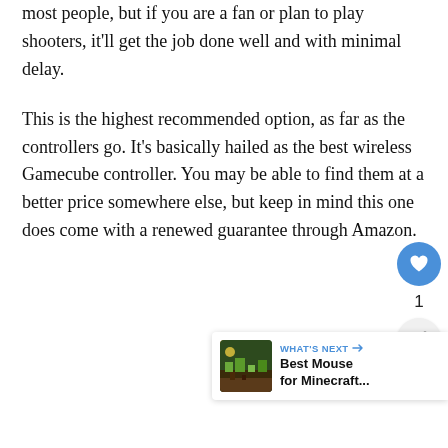most people, but if you are a fan or plan to play shooters, it'll get the job done well and with minimal delay.
This is the highest recommended option, as far as the controllers go. It's basically hailed as the best wireless Gamecube controller. You may be able to find them at a better price somewhere else, but keep in mind this one does come with a renewed guarantee through Amazon.
[Figure (other): Social sharing UI: heart/like button (blue circle with heart icon), count of 1, and share button (grey circle with share icon)]
[Figure (other): What's Next widget showing a Minecraft landscape thumbnail image with label 'WHAT'S NEXT →' and title 'Best Mouse for Minecraft...']